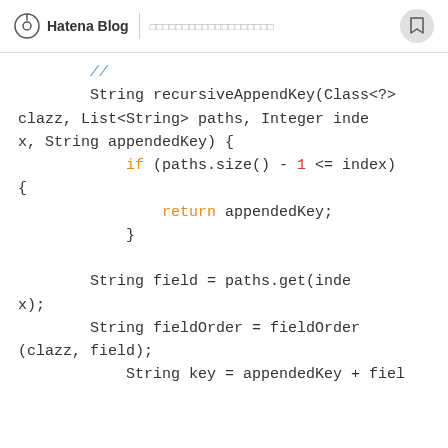Hatena Blog | [Japanese navigation text]
[Figure (screenshot): Java code snippet showing recursiveAppendKey method with if-return block and String field/fieldOrder declarations]
// 
        String recursiveAppendKey(Class<?> clazz, List<String> paths, Integer index, String appendedKey) {
            if (paths.size() - 1 <= index) {
                return appendedKey;
            }

        String field = paths.get(index);
        String fieldOrder = fieldOrder(clazz, field);
            String key = appendedKey + fiel